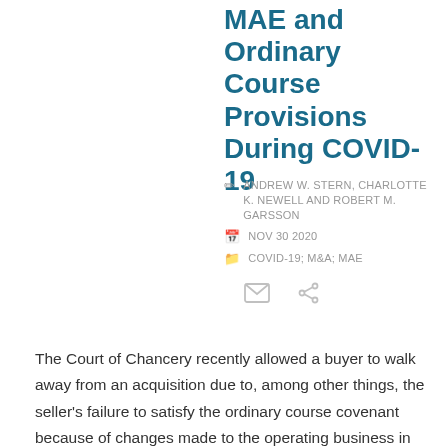MAE and Ordinary Course Provisions During COVID-19
ANDREW W. STERN, CHARLOTTE K. NEWELL AND ROBERT M. GARSSON
NOV 30 2020
COVID-19; M&A; MAE
The Court of Chancery recently allowed a buyer to walk away from an acquisition due to, among other things, the seller's failure to satisfy the ordinary course covenant because of changes made to the operating business in response to the COVID-19 pandemic. The opinion,